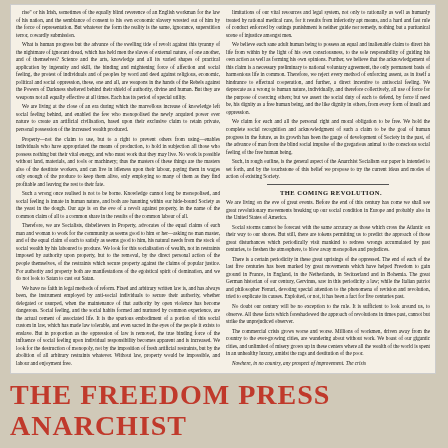Left column: text beginning with 'rise' or his Irish, sometimes of the equally blind reverence of an English workman... continuing through discussion of property, anarchism, social feeling, and law. Ends with 'Therefore, we are Anarchists, disbelievers in the government of men'
Right column: text about legal system, medical care, individual rights, voluntary agreement. Section header THE COMING REVOLUTION. Text about great events, social storms, commercial crisis, poverty, misery.
THE FREEDOM PRESS ANARCHIST